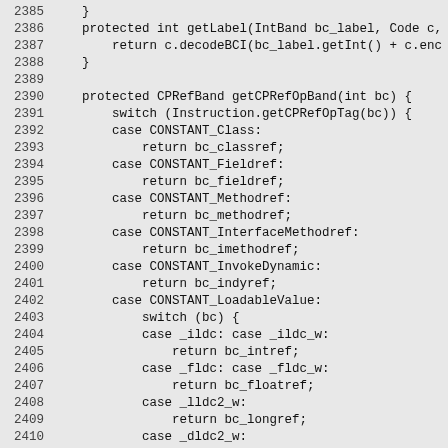Code listing lines 2385-2415, Java source code showing getLabel and getCPRefOpBand methods with switch statements for CONSTANT_Class, CONSTANT_Fieldref, CONSTANT_Methodref, CONSTANT_InterfaceMethodref, CONSTANT_InvokeDynamic, CONSTANT_LoadableValue cases.